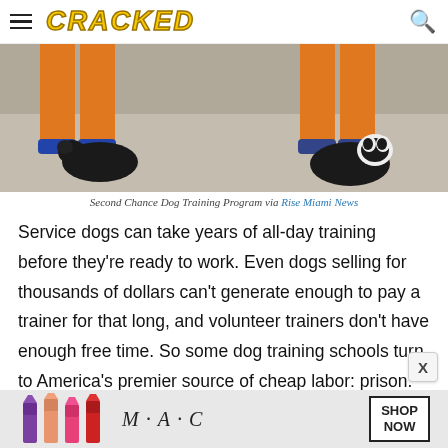CRACKED
[Figure (photo): Two people in orange prison jumpsuits sitting on the ground with dogs beside them, viewed from waist down. One dog is a black dog on the left, another is a black and white Boston Terrier on the right.]
Second Chance Dog Training Program via Rise Miami News
Service dogs can take years of all-day training before they're ready to work. Even dogs selling for thousands of dollars can't generate enough to pay a trainer for that long, and volunteer trainers don't have enough free time. So some dog training schools turn to America's premier source of cheap labor: prison.
[Figure (photo): MAC cosmetics advertisement showing lipsticks and SHOP NOW button]